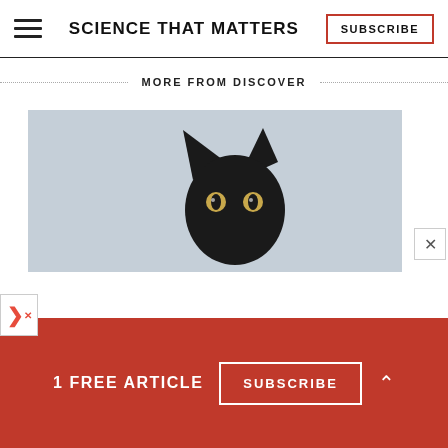SCIENCE THAT MATTERS | SUBSCRIBE
MORE FROM DISCOVER
[Figure (photo): A black cat statuette or mask peeking up from the bottom of a light gray-blue background, with golden eyes visible.]
1 FREE ARTICLE  SUBSCRIBE